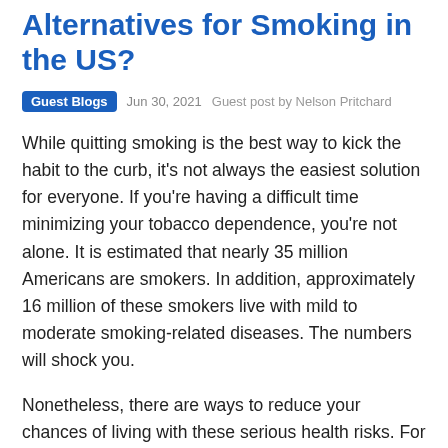Alternatives for Smoking in the US?
Guest Blogs   Jun 30, 2021   Guest post by Nelson Pritchard
While quitting smoking is the best way to kick the habit to the curb, it's not always the easiest solution for everyone. If you're having a difficult time minimizing your tobacco dependence, you're not alone. It is estimated that nearly 35 million Americans are smokers. In addition, approximately 16 million of these smokers live with mild to moderate smoking-related diseases. The numbers will shock you.
Nonetheless, there are ways to reduce your chances of living with these serious health risks. For instance, there's been a growing trend of people